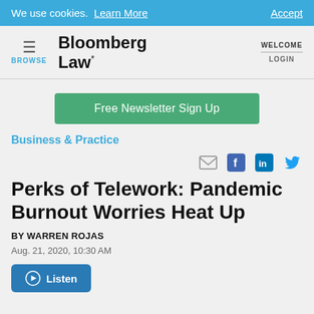We use cookies. Learn More   Accept
[Figure (logo): Bloomberg Law logo with hamburger menu and BROWSE label on left, WELCOME / LOGIN on right]
[Figure (other): Free Newsletter Sign Up green button]
Business & Practice
[Figure (other): Social sharing icons: email, Facebook, LinkedIn, Twitter]
Perks of Telework: Pandemic Burnout Worries Heat Up
BY WARREN ROJAS
Aug. 21, 2020, 10:30 AM
[Figure (other): Listen audio button]